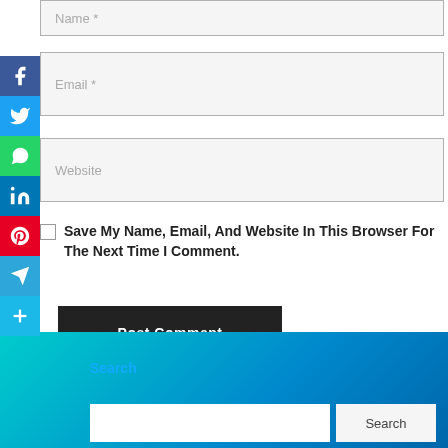Name *
Email *
Website
Save My Name, Email, And Website In This Browser For The Next Time I Comment.
Post Comment
[Figure (infographic): Social media share buttons sidebar: Facebook (blue), Twitter (light blue), WhatsApp (green), LinkedIn (blue), Pinterest (red), Telegram (blue), More/Plus (cyan)]
Search
Search